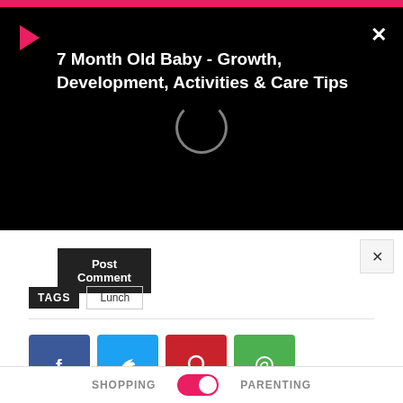[Figure (screenshot): Video player overlay with black background showing title '7 Month Old Baby - Growth, Development, Activities & Care Tips', a play button and loading spinner]
7 Month Old Baby - Growth, Development, Activities & Care Tips
Post Comment
TAGS  Lunch
[Figure (other): Social share buttons: Facebook (blue), Twitter (cyan), Pinterest (red), WhatsApp (green)]
Previous article
15 Am
Your P
Next article
during
anency
[Figure (screenshot): Tally app advertisement with 'Fast credit card payoff' text and 'Download Now' button]
SHOPPING  PARENTING